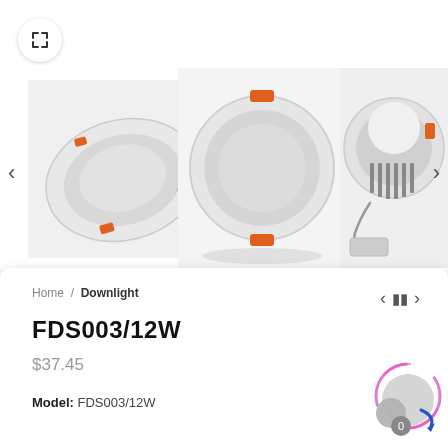[Figure (photo): Three product photos of a white LED downlight (FDS003/12W) shown from different angles: side view tilted, front view, and back view showing heat sink.]
Home / Downlight
FDS003/12W
$37.45
Model: FDS003/12W
[Figure (illustration): Chat support widget with circular chat bubble icon, purple and pink swirl, blue arrow, and counter badge showing 0.]